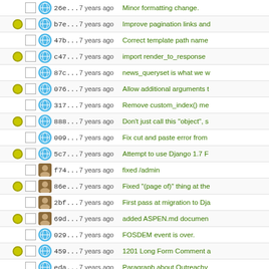|  |  | hash | time | message |
| --- | --- | --- | --- | --- |
|  | globe | 26e... | 7 years ago | Minor formatting change. |
|  | globe | b7e... | 7 years ago | Improve pagination links and |
|  | globe | 47b... | 7 years ago | Correct template path name |
|  | globe | c47... | 7 years ago | import render_to_response |
|  | globe | 87c... | 7 years ago | news_queryset is what we w |
|  | globe | 076... | 7 years ago | Allow additional arguments t |
|  | globe | 317... | 7 years ago | Remove custom_index() me |
|  | globe | 888... | 7 years ago | Don't just call this "object", s |
|  | globe | 009... | 7 years ago | Fix cut and paste error from |
|  | globe | 5c7... | 7 years ago | Attempt to use Django 1.7 F |
|  | person | f74... | 7 years ago | fixed /admin |
|  | person | 86e... | 7 years ago | Fixed "(page of)" thing at the |
|  | person | 2bf... | 7 years ago | First pass at migration to Dja |
|  | person | 69d... | 7 years ago | added ASPEN.md documen |
|  | globe | 029... | 7 years ago | FOSDEM event is over. |
|  | globe | 459... | 7 years ago | 1201 Long Form Comment a |
|  | globe | eda... | 7 years ago | Paragraph about Outreachy |
|  | globe | ed2... | 7 years ago | Correct bad div in events pa |